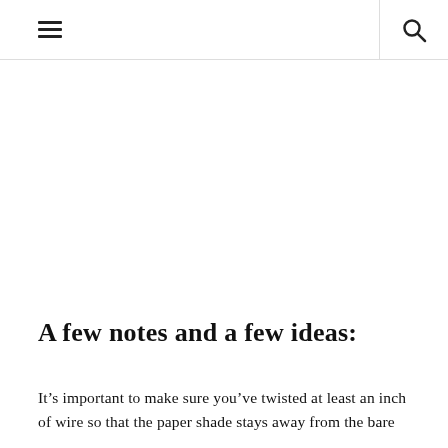[hamburger menu icon] [search icon]
A few notes and a few ideas:
It’s important to make sure you’ve twisted at least an inch of wire so that the paper shade stays away from the bare